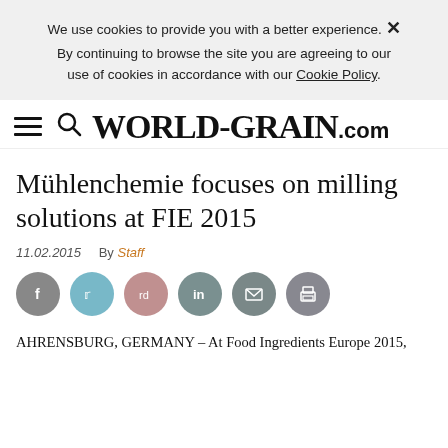We use cookies to provide you with a better experience. × By continuing to browse the site you are agreeing to our use of cookies in accordance with our Cookie Policy.
WORLD-GRAIN.com
Mühlenchemie focuses on milling solutions at FIE 2015
11.02.2015   By Staff
[Figure (other): Social sharing icons: Facebook, Twitter, Reddit, LinkedIn, Email, Print]
AHRENSBURG, GERMANY – At Food Ingredients Europe 2015,